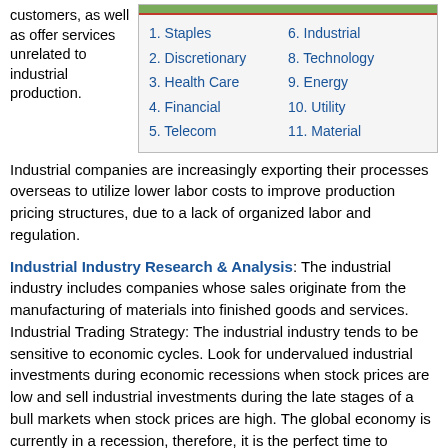customers, as well as offer services unrelated to industrial production.
1. Staples
2. Discretionary
3. Health Care
4. Financial
5. Telecom
6. Industrial
8. Technology
9. Energy
10. Utility
11. Material
Industrial companies are increasingly exporting their processes overseas to utilize lower labor costs to improve production pricing structures, due to a lack of organized labor and regulation.
Industrial Industry Research & Analysis: The industrial industry includes companies whose sales originate from the manufacturing of materials into finished goods and services. Industrial Trading Strategy: The industrial industry tends to be sensitive to economic cycles. Look for undervalued industrial investments during economic recessions when stock prices are low and sell industrial investments during the late stages of a bull markets when stock prices are high. The global economy is currently in a recession, therefore, it is the perfect time to purchase industrial investments. Upward sloping stock charts and financial news may indicate a selling opportunity while the opposite means that stocks are becoming undervalued.